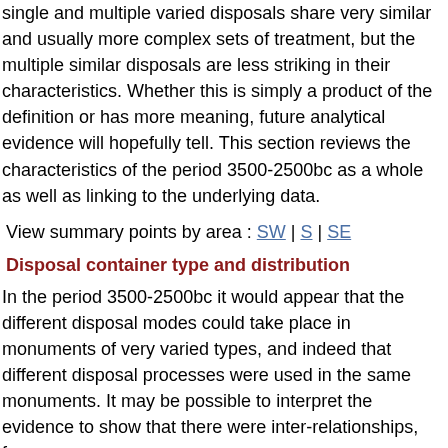single and multiple varied disposals share very similar and usually more complex sets of treatment, but the multiple similar disposals are less striking in their characteristics. Whether this is simply a product of the definition or has more meaning, future analytical evidence will hopefully tell. This section reviews the characteristics of the period 3500-2500bc as a whole as well as linking to the underlying data.
View summary points by area : SW | S | SE
Disposal container type and distribution
In the period 3500-2500bc it would appear that the different disposal modes could take place in monuments of very varied types, and indeed that different disposal processes were used in the same monuments. It may be possible to interpret the evidence to show that there were inter-relationships, for